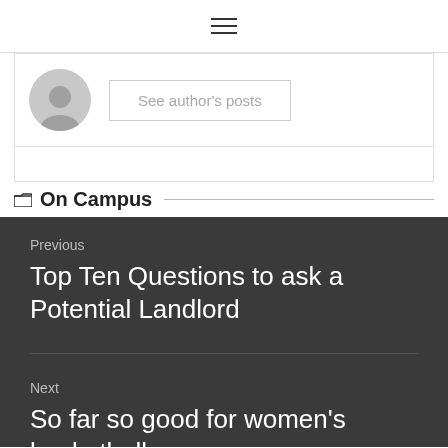≡
[Figure (other): Author avatar placeholder (grey circle with person silhouette) and 'See author's posts' button]
On Campus
Previous
Top Ten Questions to ask a Potential Landlord
Next
So far so good for women's basketball